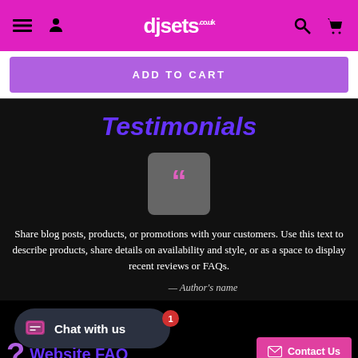djsets.co.uk
ADD TO CART
Testimonials
[Figure (illustration): Gray rounded square with large pink quotation marks icon]
Share blog posts, products, or promotions with your customers. Use this text to describe products, share details on availability and style, or as a space to display recent reviews or FAQs.
— Author's name
[Figure (screenshot): Chat with us button with notification badge showing 1]
Website FAQ
Contact Us